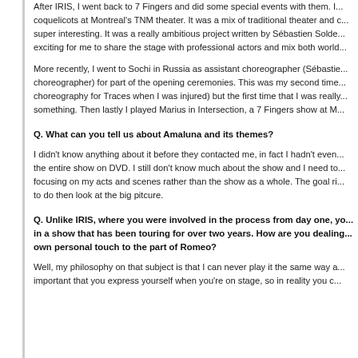After IRIS, I went back to 7 Fingers and did some special events with them. I... coquelicots at Montreal's TNM theater. It was a mix of traditional theater and c... super interesting. It was a really ambitious project written by Sébastien Solde... exciting for me to share the stage with professional actors and mix both world...
More recently, I went to Sochi in Russia as assistant choreographer (Sébastie... choreographer) for part of the opening ceremonies. This was my second time... choreography for Traces when I was injured) but the first time that I was really... something. Then lastly I played Marius in Intersection, a 7 Fingers show at M...
Q. What can you tell us about Amaluna and its themes?
I didn't know anything about it before they contacted me, in fact I hadn't even... the entire show on DVD. I still don't know much about the show and I need to... focusing on my acts and scenes rather than the show as a whole. The goal ri... to do then look at the big pitcure.
Q. Unlike IRIS, where you were involved in the process from day one, yo... in a show that has been touring for over two years. How are you dealing... own personal touch to the part of Romeo?
Well, my philosophy on that subject is that I can never play it the same way a... important that you express yourself when you're on stage, so in reality you c...